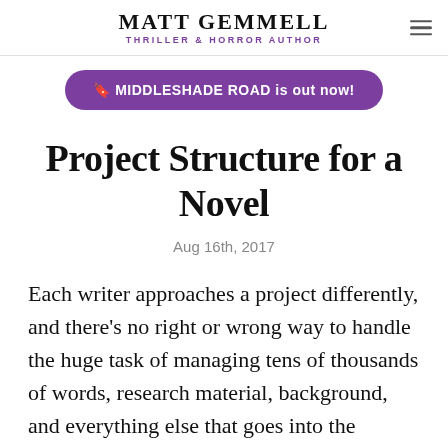Matt Gemmell — Thriller & Horror Author
🔖 MIDDLESHADE ROAD is out now!
Project Structure for a Novel
Aug 16th, 2017
Each writer approaches a project differently, and there's no right or wrong way to handle the huge task of managing tens of thousands of words, research material, background, and everything else that goes into the finished